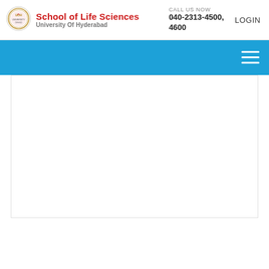[Figure (logo): University of Hyderabad circular emblem/seal logo]
School of Life Sciences University Of Hyderabad
CALL US NOW 040-2313-4500, 4600
LOGIN
[Figure (other): Blue navigation bar with hamburger menu icon (three horizontal lines) on the right side]
[Figure (other): White content area with border, mostly empty]